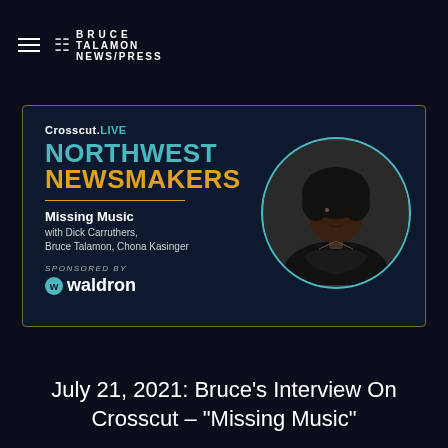BRUCE TALAMON NEWS/PRESS
[Figure (infographic): Crosscut LIVE Northwest Newsmakers event card with portrait of a musician in a circle, title 'Missing Music', featuring Dick Carruthers, Bruce Talamon, Chona Kasinger, sponsored by Waldron]
July 21, 2021: Bruce’s Interview On Crosscut – “Missing Music”